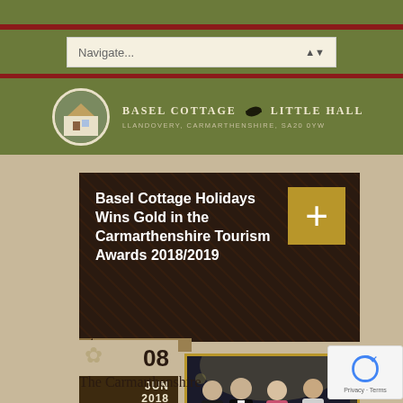[Figure (screenshot): Navigation dropdown bar with 'Navigate...' text and up/down arrow, on olive green background]
[Figure (logo): Basel Cottage Little Hall logo with circular house photo, text 'BASEL COTTAGE LITTLE HALL', subtitle 'LLANDOVERY, CARMARTHENSHIRE, SA20 0YW']
Basel Cottage Holidays Wins Gold in the Carmarthenshire Tourism Awards 2018/2019
08 JUN 2018
[Figure (photo): Award ceremony photo showing four people in formal attire with award plaques]
The Carmarthenshire